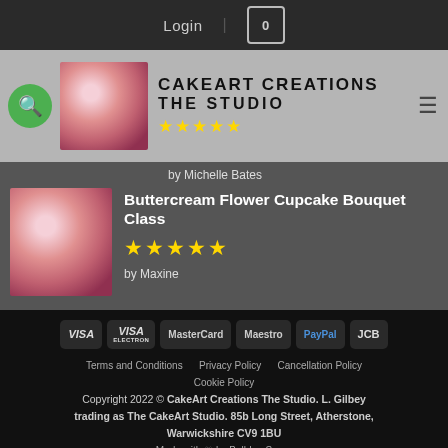Login  0
[Figure (logo): CakeArt Creations The Studio logo with search icon, thumbnail of cupcakes, site title text and star rating]
by Michelle Bates
[Figure (photo): Thumbnail photo of pink buttercream flower cupcakes]
Buttercream Flower Cupcake Bouquet Class
★★★★★
by Maxine
[Figure (infographic): Payment method badges: VISA, VISA ELECTRON, MasterCard, Maestro, PayPal, JCB]
Terms and Conditions   Privacy Policy   Cancellation Policy   Cookie Policy
Copyright 2022 © CakeArt Creations The Studio. L. Gilbey trading as The CakeArt Studio. 85b Long Street, Atherstone, Warwickshire CV9 1BU
Made with ♡ by Bulldog Snare